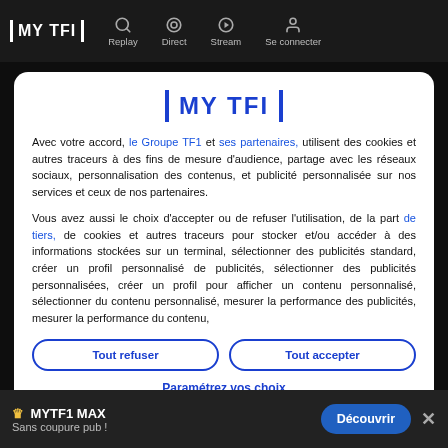MY TF1 | Replay  Direct  Stream  Se connecter
[Figure (logo): MY TF1 logo in blue with vertical bar borders]
Avec votre accord, le Groupe TF1 et ses partenaires, utilisent des cookies et autres traceurs à des fins de mesure d'audience, partage avec les réseaux sociaux, personnalisation des contenus, et publicité personnalisée sur nos services et ceux de nos partenaires.
Vous avez aussi le choix d'accepter ou de refuser l'utilisation, de la part de tiers, de cookies et autres traceurs pour stocker et/ou accéder à des informations stockées sur un terminal, sélectionner des publicités standard, créer un profil personnalisé de publicités, sélectionner des publicités personnalisées, créer un profil pour afficher un contenu personnalisé, sélectionner du contenu personnalisé, mesurer la performance des publicités, mesurer la performance du contenu,
Tout refuser
Tout accepter
Paramétrez vos choix
MYTF1 MAX — Sans coupure pub! — Découvrir